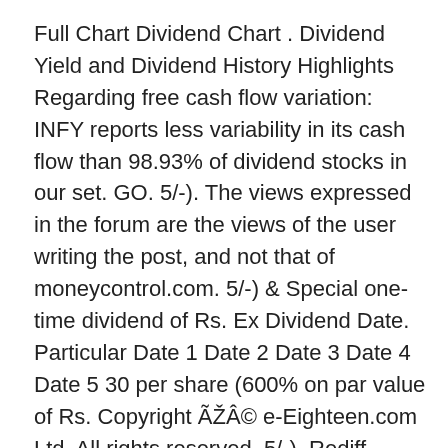Full Chart Dividend Chart . Dividend Yield and Dividend History Highlights Regarding free cash flow variation: INFY reports less variability in its cash flow than 98.93% of dividend stocks in our set. GO. 5/-). The views expressed in the forum are the views of the user writing the post, and not that of moneycontrol.com. 5/-) & Special one-time dividend of Rs. Ex Dividend Date. Particular Date 1 Date 2 Date 3 Date 4 Date 5 30 per share (600% on par value of Rs. Copyright ÃŽÂ© e-Eighteen.com Ltd. All rights reserved. 5/-). Rediff MoneyWiz, the personal finance service from Rediff.com equips the user with tools and information in the form of graphs, charts, expert advice, and more to stay up-to-date … Last year, Infosys paid a total dividend of 21.5, and it currently